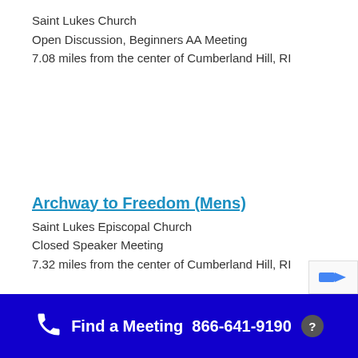Saint Lukes Church
Open Discussion, Beginners AA Meeting
7.08 miles from the center of Cumberland Hill, RI
Archway to Freedom (Mens)
Saint Lukes Episcopal Church
Closed Speaker Meeting
7.32 miles from the center of Cumberland Hill, RI
Find a Meeting  866-641-9190